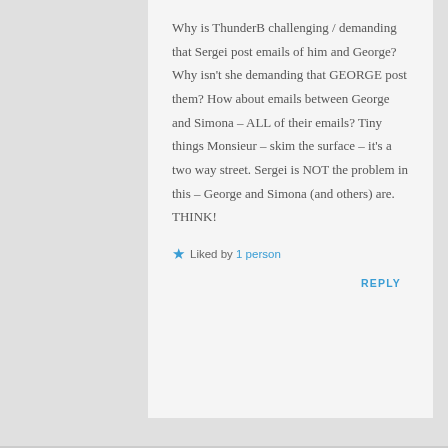Why is ThunderB challenging / demanding that Sergei post emails of him and George? Why isn't she demanding that GEORGE post them? How about emails between George and Simona – ALL of their emails? Tiny things Monsieur – skim the surface – it's a two way street. Sergei is NOT the problem in this – George and Simona (and others) are. THINK!
★ Liked by 1 person
REPLY